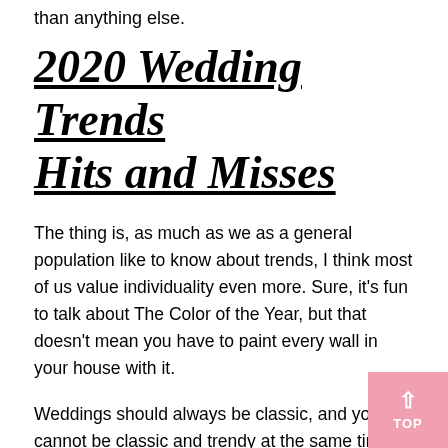than anything else.
2020 Wedding Trends Hits and Misses
The thing is, as much as we as a general population like to know about trends, I think most of us value individuality even more. Sure, it's fun to talk about The Color of the Year, but that doesn't mean you have to paint every wall in your house with it.
Weddings should always be classic, and you cannot be classic and trendy at the same time. I alw my couples that they should be able to look b their wedding photos 10, 20 and 30 years from now